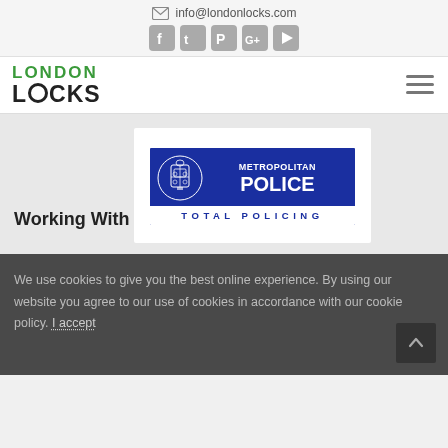info@londonlocks.com
[Figure (logo): London Locks company logo with green LONDON text and black LOCKS text, hamburger menu icon on right]
Working With
[Figure (logo): Metropolitan Police Total Policing logo - blue rectangle with crest on left and METROPOLITAN POLICE text, TOTAL POLICING below in blue letters on white background]
We use cookies to give you the best online experience. By using our website you agree to our use of cookies in accordance with our cookie policy. I accept